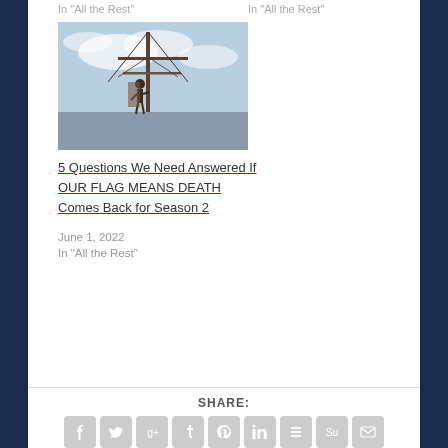In "All the Rest"
In "All the Rest"
[Figure (photo): A person on a ship or tall structure with rigging and masts, cloudy sky background]
5 Questions We Need Answered If OUR FLAG MEANS DEATH Comes Back for Season 2
June 1, 2022
In "All the Rest"
SHARE:
[Figure (infographic): Social media share icons: Facebook, Twitter, Google+, Tumblr, Pinterest, LinkedIn, Buffer, StumbleUpon, Email]